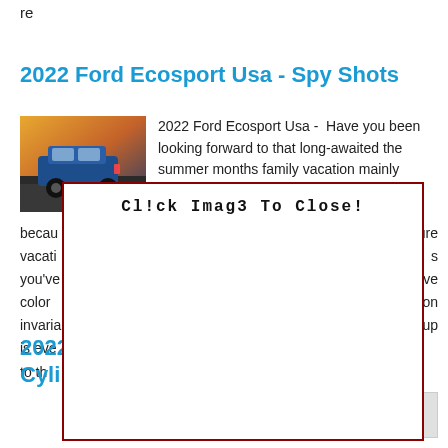re
2022 Ford Ecosport Usa - Spy Shots
[Figure (photo): Blue Ford Ecosport SUV rear view on road at sunset]
2022 Ford Ecosport Usa -  Have you been looking forward to that long-awaited the summer months family vacation mainly because
becau
vacati
you've
color
varia
is eve
to th
n sure
s
ave
ation
ive up
[Figure (screenshot): Modal overlay popup with dark red border displaying 'Cl!ck Imag3 To Close!' text]
2022
Cyln